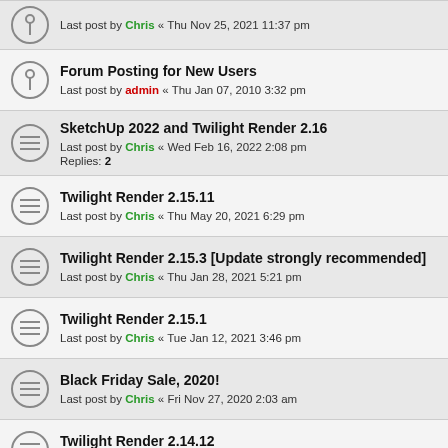Last post by Chris « Thu Nov 25, 2021 11:37 pm
Forum Posting for New Users
Last post by admin « Thu Jan 07, 2010 3:32 pm
SketchUp 2022 and Twilight Render 2.16
Last post by Chris « Wed Feb 16, 2022 2:08 pm
Replies: 2
Twilight Render 2.15.11
Last post by Chris « Thu May 20, 2021 6:29 pm
Twilight Render 2.15.3 [Update strongly recommended]
Last post by Chris « Thu Jan 28, 2021 5:21 pm
Twilight Render 2.15.1
Last post by Chris « Tue Jan 12, 2021 3:46 pm
Black Friday Sale, 2020!
Last post by Chris « Fri Nov 27, 2020 2:03 am
Twilight Render 2.14.12
Last post by Chris « Thu Nov 19, 2020 3:25 pm
25% off through the month of April (and exciting news about the FastForward Denoiser)
Last post by Chris « Thu Apr 09, 2020 4:17 pm
Twilight Render 2.14.5
Last post by Chris...